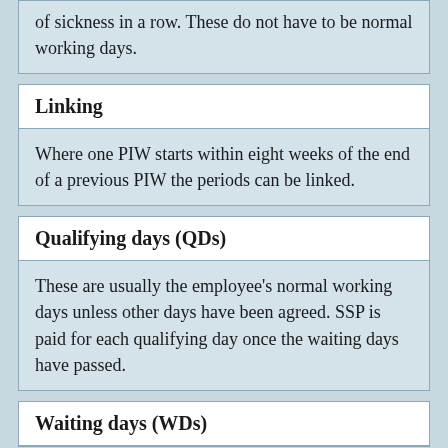of sickness in a row. These do not have to be normal working days.
Linking
Where one PIW starts within eight weeks of the end of a previous PIW the periods can be linked.
Qualifying days (QDs)
These are usually the employee's normal working days unless other days have been agreed. SSP is paid for each qualifying day once the waiting days have passed.
Waiting days (WDs)